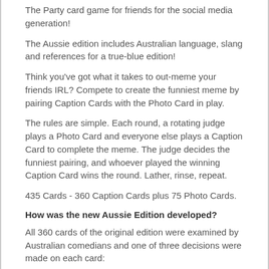The Party card game for friends for the social media generation!
The Aussie edition includes Australian language, slang and references for a true-blue edition!
Think you've got what it takes to out-meme your friends IRL? Compete to create the funniest meme by pairing Caption Cards with the Photo Card in play.
The rules are simple. Each round, a rotating judge plays a Photo Card and everyone else plays a Caption Card to complete the meme. The judge decides the funniest pairing, and whoever played the winning Caption Card wins the round. Lather, rinse, repeat.
435 Cards - 360 Caption Cards plus 75 Photo Cards.
How was the new Aussie Edition developed?
All 360 cards of the original edition were examined by Australian comedians and one of three decisions were made on each card:
1. Replace completely. The joke didn't make sense in Australia (30)